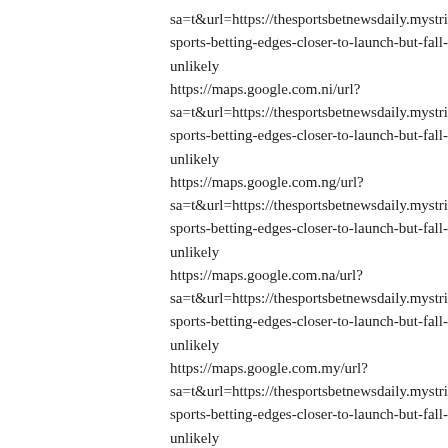sa=t&url=https://thesportsbetnewsdaily.mystrikingly.com/blog/ma sports-betting-edges-closer-to-launch-but-fall-unlikely https://maps.google.com.ni/url? sa=t&url=https://thesportsbetnewsdaily.mystrikingly.com/blog/ma sports-betting-edges-closer-to-launch-but-fall-unlikely https://maps.google.com.ng/url? sa=t&url=https://thesportsbetnewsdaily.mystrikingly.com/blog/ma sports-betting-edges-closer-to-launch-but-fall-unlikely https://maps.google.com.na/url? sa=t&url=https://thesportsbetnewsdaily.mystrikingly.com/blog/ma sports-betting-edges-closer-to-launch-but-fall-unlikely https://maps.google.com.my/url? sa=t&url=https://thesportsbetnewsdaily.mystrikingly.com/blog/ma sports-betting-edges-closer-to-launch-but-fall-unlikely https://maps.google.com.mx/url? sa=t&url=https://thesportsbetnewsdaily.mystrikingly.com/blog/ma